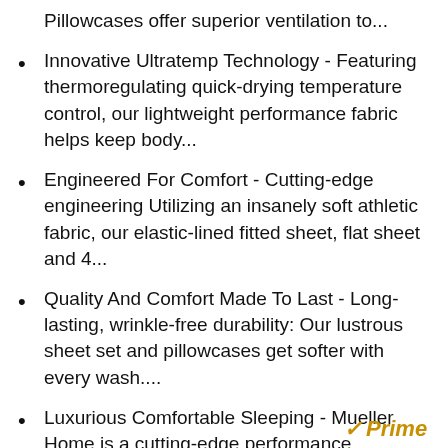Pillowcases offer superior ventilation to...
Innovative Ultratemp Technology - Featuring thermoregulating quick-drying temperature control, our lightweight performance fabric helps keep body...
Engineered For Comfort - Cutting-edge engineering Utilizing an insanely soft athletic fabric, our elastic-lined fitted sheet, flat sheet and 4...
Quality And Comfort Made To Last - Long-lasting, wrinkle-free durability: Our lustrous sheet set and pillowcases get softer with every wash....
Luxurious Comfortable Sleeping - Mueller Home is a cutting-edge performance company that helps you sleep at the perfect temperature. If you need any...
[Figure (logo): Amazon Prime logo with checkmark in gold/amber color]